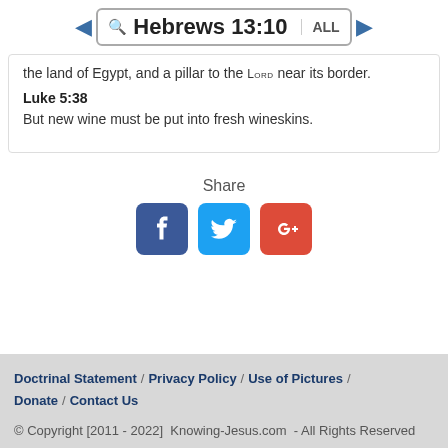Hebrews 13:10  ALL
the land of Egypt, and a pillar to the LORD near its border.
Luke 5:38
But new wine must be put into fresh wineskins.
Share
[Figure (infographic): Social share buttons: Facebook (blue), Twitter (light blue), Google+ (red)]
Doctrinal Statement / Privacy Policy / Use of Pictures / Donate / Contact Us
© Copyright [2011 - 2022]  Knowing-Jesus.com  - All Rights Reserved